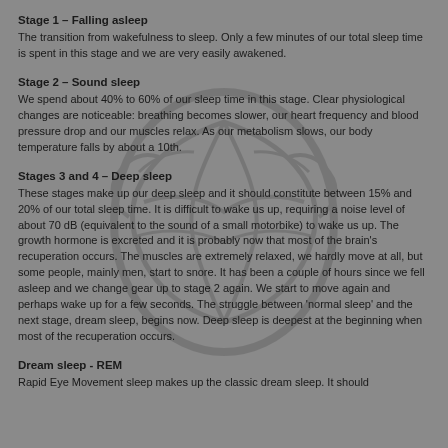Stage 1 – Falling asleep
The transition from wakefulness to sleep. Only a few minutes of our total sleep time is spent in this stage and we are very easily awakened.
Stage 2 – Sound sleep
We spend about 40% to 60% of our sleep time in this stage. Clear physiological changes are noticeable: breathing becomes slower, our heart frequency and blood pressure drop and our muscles relax. As our metabolism slows, our body temperature falls by about a 10th.
Stages 3 and 4 – Deep sleep
These stages make up our deep sleep and it should constitute between 15% and 20% of our total sleep time. It is difficult to wake us up, requiring a noise level of about 70 dB (equivalent to the sound of a small motorbike) to wake us up. The growth hormone is excreted and it is probably now that most of the brain's recuperation occurs. The muscles are extremely relaxed, we hardly move at all, but some people, mainly men, start to snore. It has been a couple of hours since we fell asleep and we change gear up to stage 2 again. We start to move again and perhaps wake up for a few seconds. The struggle between 'normal sleep' and the next stage, dream sleep, begins now. Deep sleep is deepest at the beginning when most of the recuperation occurs.
Dream sleep - REM
Rapid Eye Movement sleep makes up the classic dream sleep. It should